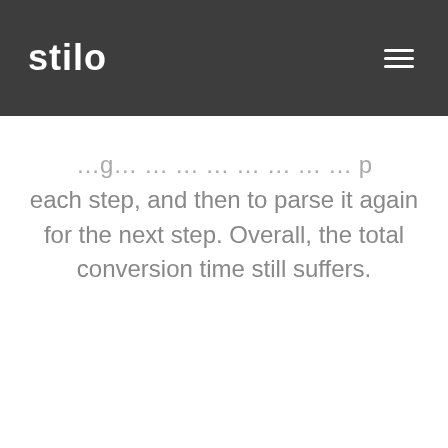stilo
each step, and then to parse it again for the next step. Overall, the total conversion time still suffers.